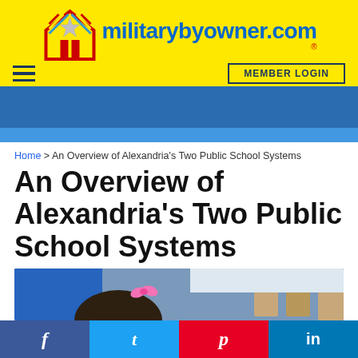[Figure (logo): militarybyowner.com logo with star and house icon on yellow background]
[Figure (screenshot): Navigation bar with hamburger menu on left and MEMBER LOGIN button on right, on yellow background]
[Figure (screenshot): Blue horizontal navigation band]
Home > An Overview of Alexandria's Two Public School Systems
An Overview of Alexandria's Two Public School Systems
[Figure (photo): Classroom photo showing a girl with a pink bow in her hair viewed from behind, with a teacher in blue shirt and school desks in background]
[Figure (screenshot): Social media sharing bar with Facebook, Twitter, Pinterest, and LinkedIn buttons]